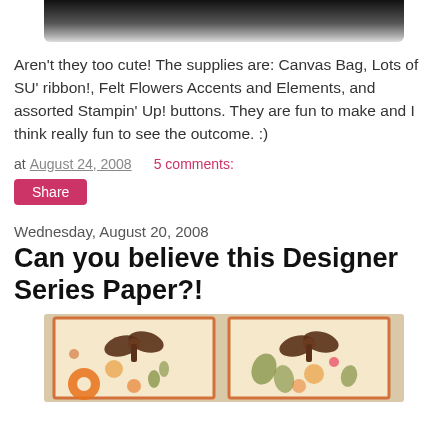[Figure (photo): Top portion of a photo showing a canvas bag with ribbon and felt flowers, partially cropped at top of page]
Aren't they too cute! The supplies are: Canvas Bag, Lots of SU' ribbon!, Felt Flowers Accents and Elements, and assorted Stampin' Up! buttons. They are fun to make and I think really fun to see the outcome. :)
at August 24, 2008    5 comments:
Share
Wednesday, August 20, 2008
Can you believe this Designer Series Paper?!
[Figure (photo): Photo of two handmade greeting cards with orange borders, floral designer series paper, and brown ribbon bows]